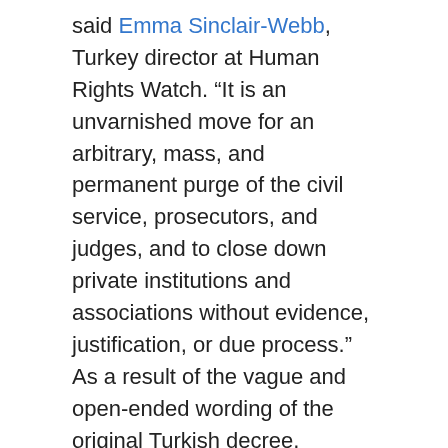said Emma Sinclair-Webb, Turkey director at Human Rights Watch. “It is an unvarnished move for an arbitrary, mass, and permanent purge of the civil service, prosecutors, and judges, and to close down private institutions and associations without evidence, justification, or due process.” As a result of the vague and open-ended wording of the original Turkish decree, roughly 18,000 people have been detained since July 16, and another 60,000 government workers have lost their jobs.
Much remains uncertain about the coup, allegedly organized by a community of people inspired by the US-based Islamic cleric Fethullah Gülen. However, the Turkish government’s response to the attempted coup can be used to target any adversary – perceived or